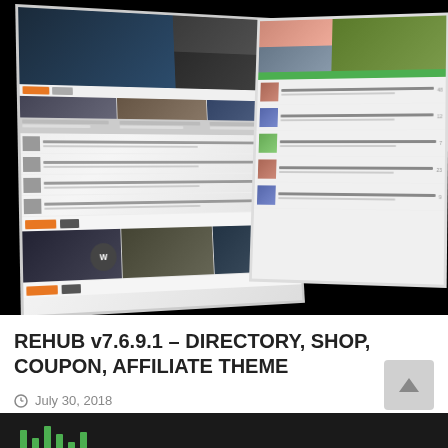[Figure (screenshot): Two tablet/screen mockups showing website previews of REHUB theme — a news/magazine style web layout with image grids, orange CTA buttons, article thumbnails, and a green-accented sidebar. The mockups are displayed at an angle against a black background.]
REHUB v7.6.9.1 – DIRECTORY, SHOP, COUPON, AFFILIATE THEME
July 30, 2018
[Figure (screenshot): Bottom strip of another webpage screenshot showing a dark header with green bar chart elements visible.]